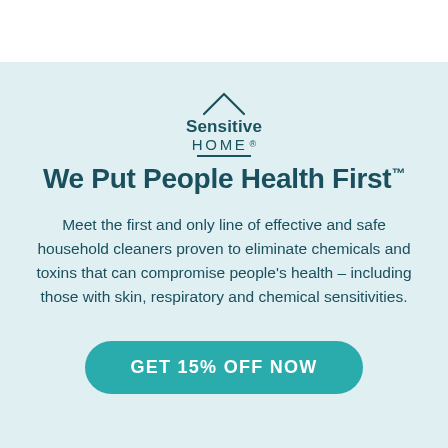[Figure (logo): Sensitive Home logo with a house icon outline above the text 'Sensitive HOME®']
We Put People Health First™
Meet the first and only line of effective and safe household cleaners proven to eliminate chemicals and toxins that can compromise people's health – including those with skin, respiratory and chemical sensitivities.
GET 15% OFF NOW